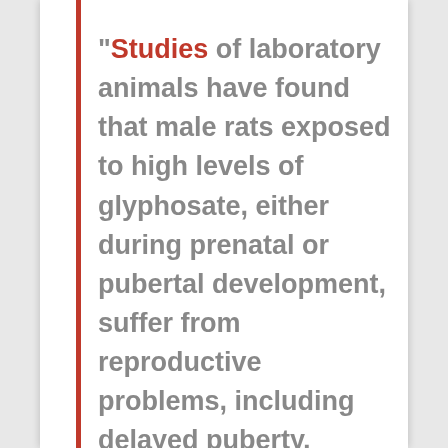“Studies of laboratory animals have found that male rats exposed to high levels of glyphosate, either during prenatal or pubertal development, suffer from reproductive problems, including delayed puberty, decreased sperm production, and decreased